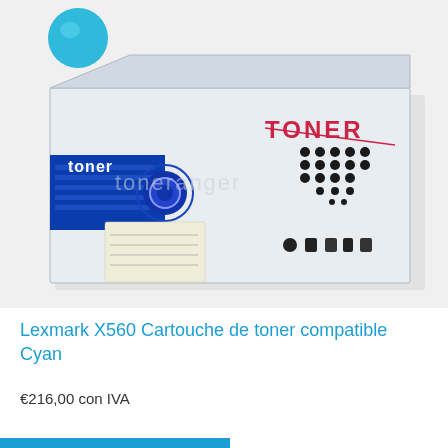[Figure (photo): A white cardboard toner cartridge box with blue side panel labeled 'toner' and red 'TONER' branding with dot-matrix pattern on the front. A cyan blue ink droplet icon appears in the top-left corner above the box. Watermark text 'toneranger' visible across the box.]
Lexmark X560 Cartouche de toner compatible Cyan
€216,00 con IVA